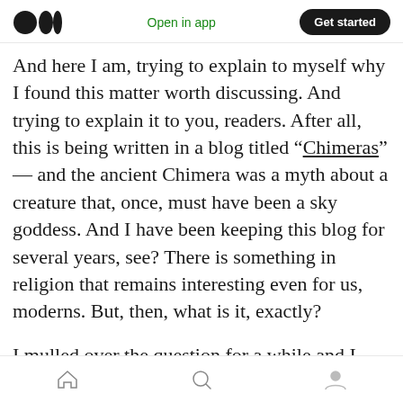Medium logo | Open in app | Get started
And here I am, trying to explain to myself why I found this matter worth discussing. And trying to explain it to you, readers. After all, this is being written in a blog titled “Chimeras” — and the ancient Chimera was a myth about a creature that, once, must have been a sky goddess. And I have been keeping this blog for several years, see? There is something in religion that remains interesting even for us, moderns. But, then, what is it, exactly?
I mulled over the question for a while and I came to the conclusion that, yes, Erik Assadourian and
Home | Search | Profile